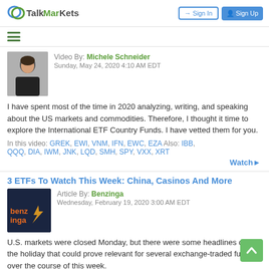TalkMarkets | Sign In | Sign Up
Video By: Michele Schneider
Sunday, May 24, 2020 4:10 AM EDT
I have spent most of the time in 2020 analyzing, writing, and speaking about the US markets and commodities. Therefore, I thought it time to explore the International ETF Country Funds. I have vetted them for you.
In this video: GREK, EWI, VNM, IFN, EWC, EZA Also: IBB, QQQ, DIA, IWM, JNK, LQD, SMH, SPY, VXX, XRT
Watch ▶
3 ETFs To Watch This Week: China, Casinos And More
Article By: Benzinga
Wednesday, February 19, 2020 3:00 AM EDT
U.S. markets were closed Monday, but there were some headlines out on the holiday that could prove relevant for several exchange-traded funds over the course of this week.